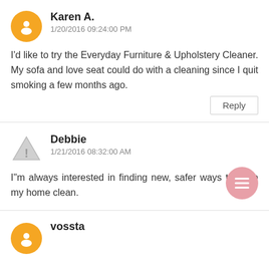Karen A.
1/20/2016 09:24:00 PM
I'd like to try the Everyday Furniture & Upholstery Cleaner. My sofa and love seat could do with a cleaning since I quit smoking a few months ago.
Reply
Debbie
1/21/2016 08:32:00 AM
I"m always interested in finding new, safer ways to keep my home clean.
vossta